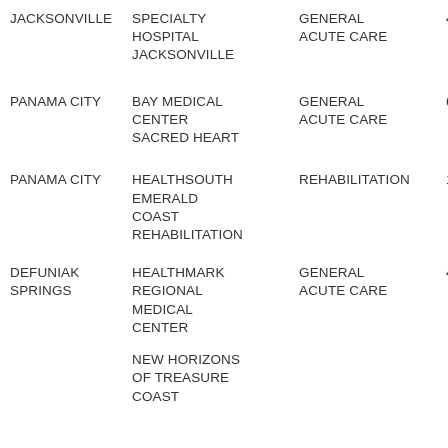| City | Hospital Name | Type | Number |
| --- | --- | --- | --- |
| JACKSONVILLE | SPECIALTY HOSPITAL JACKSONVILLE | GENERAL ACUTE CARE | 490 |
| PANAMA CITY | BAY MEDICAL CENTER SACRED HEART | GENERAL ACUTE CARE | 615 |
| PANAMA CITY | HEALTHSOUTH EMERALD COAST REHABILITATION | REHABILITATION | 184 |
| DEFUNIAK SPRINGS | HEALTHMARK REGIONAL MEDICAL CENTER | GENERAL ACUTE CARE | 441 |
|  | NEW HORIZONS OF TREASURE COAST |  |  |